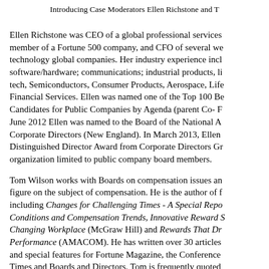Introducing Case Moderators Ellen Richstone and T
Ellen Richstone was CEO of a global professional services member of a Fortune 500 company, and CFO of several we technology global companies. Her industry experience incl software/hardware; communications; industrial products, li tech, Semiconductors, Consumer Products, Aerospace, Life Financial Services. Ellen was named one of the Top 100 Be Candidates for Public Companies by Agenda (parent Co- F June 2012 Ellen was named to the Board of the National A Corporate Directors (New England). In March 2013, Ellen Distinguished Director Award from Corporate Directors Gr organization limited to public company board members.
Tom Wilson works with Boards on compensation issues an figure on the subject of compensation. He is the author of f including Changes for Challenging Times - A Special Repo Conditions and Compensation Trends, Innovative Reward S Changing Workplace (McGraw Hill) and Rewards That Dr Performance (AMACOM). He has written over 30 articles and special features for Fortune Magazine, the Conference Times and Boards and Directors. Tom is frequently quoted matters in the Boston Globe, Wall Street Journal, and the B Journal.